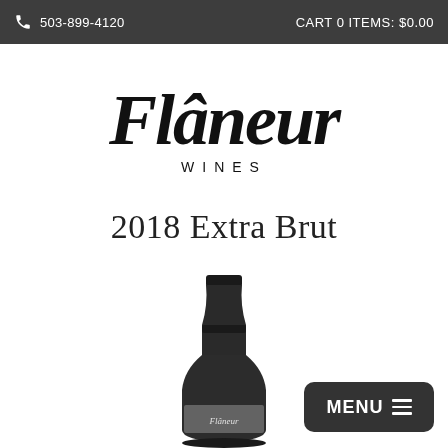503-899-4120    CART 0 ITEMS: $0.00
[Figure (logo): Flâneur Wines cursive script logo with 'WINES' in spaced caps below]
2018 Extra Brut
[Figure (photo): Wine bottle neck and upper body of a dark sparkling wine bottle with Flâneur label, photographed against white background]
MENU ≡